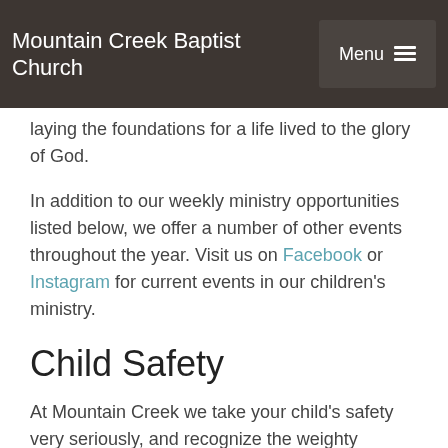Mountain Creek Baptist Church | Menu
laying the foundations for a life lived to the glory of God.
In addition to our weekly ministry opportunities listed below, we offer a number of other events throughout the year. Visit us on Facebook or Instagram for current events in our children's ministry.
Child Safety
At Mountain Creek we take your child's safety very seriously, and recognize the weighty responsibility of being entrusted with your child. We screen, train, and background check all of our MC Kids